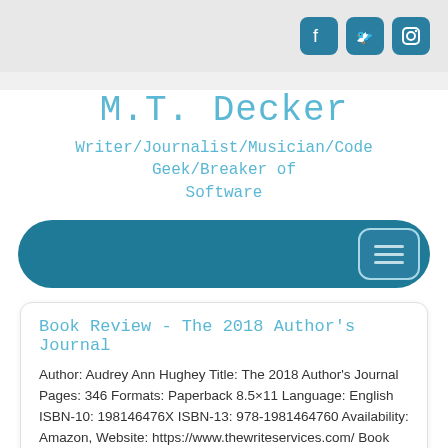[Social media icons: Facebook, Twitter, Instagram]
M.T. Decker
Writer/Journalist/Musician/Code Geek/Breaker of Software
[Figure (other): Teal rounded bar with hamburger menu button on the right]
Book Review - The 2018 Author's Journal
Author: Audrey Ann Hughey Title: The 2018 Author's Journal Pages: 346 Formats: Paperback 8.5×11 Language: English ISBN-10: 198146476X ISBN-13: 978-1981464760 Availability: Amazon, Website: https://www.thewriteservices.com/ Book Blurb Make 2018 Your Best Author Year Ever! The 2018 Author's Journal is a planner